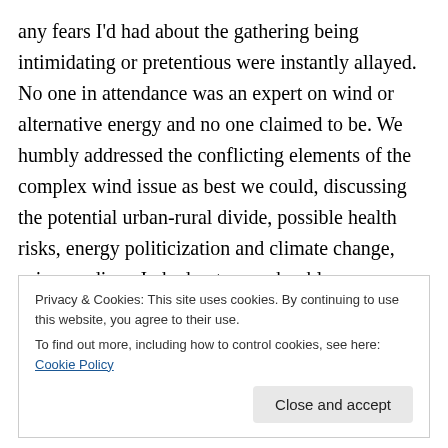any fears I'd had about the gathering being intimidating or pretentious were instantly allayed. No one in attendance was an expert on wind or alternative energy and no one claimed to be. We humbly addressed the conflicting elements of the complex wind issue as best we could, discussing the potential urban-rural divide, possible health risks, energy politicization and climate change, using readings Jo had put up on her blog. Ultimately, the discussion reached no clear consensus, but as Voltaire once mused, “Judge a man by his questions rather than by his answers.” Also, Jo baked a cookie in the shape of a
Privacy & Cookies: This site uses cookies. By continuing to use this website, you agree to their use.
To find out more, including how to control cookies, see here: Cookie Policy